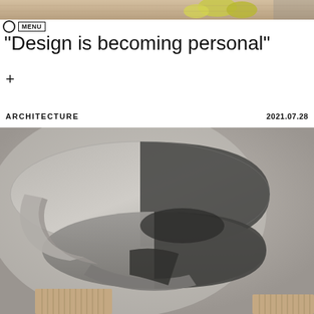[Figure (photo): Top portion of a photo showing interior design scene with yellow objects on a light wooden surface]
MENU
“Design is becoming personal”
+
ARCHITECTURE
2021.07.28
[Figure (photo): Close-up photo of a modern architectural spiral staircase in dark grey/charcoal tones with smooth curved surfaces, with wooden slat wall panels visible at the bottom]